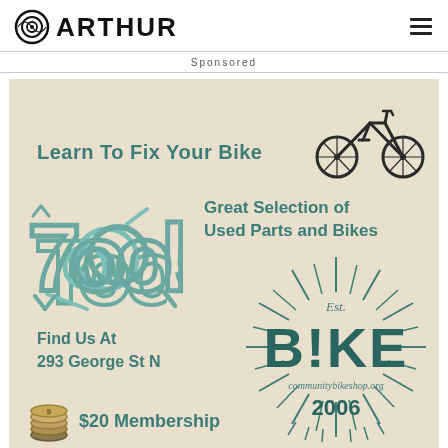@Arthur
Sponsored
[Figure (advertisement): Community Bike Shop advertisement on beige/tan background featuring: 'Learn To Fix Your Bike' with bicycle icon, 'Great Selection of Used Parts and Bikes' with tools icon, 'Find Us At 293 George St N', B!KE logo with sunburst and 'communitybikeshop.org 2006', '$20 Membership' with coins icon]